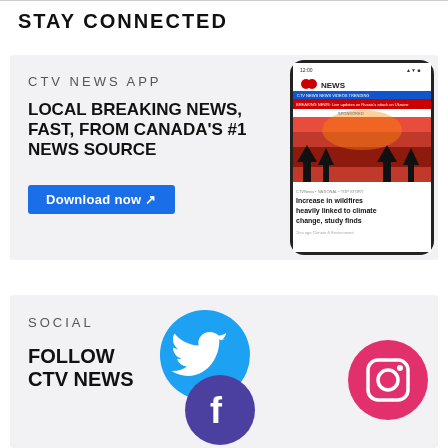STAY CONNECTED
CTV NEWS APP
LOCAL BREAKING NEWS, FAST, FROM CANADA'S #1 NEWS SOURCE
Download now ↗
[Figure (photo): Smartphone showing CTV News app with wildfire story: 'Increase in wildfires heavily linked to climate change, study finds']
SOCIAL
FOLLOW CTV NEWS
[Figure (illustration): Twitter bird icon in blue circle, Instagram logo in pink/magenta circle, Facebook logo in purple/blue circle]